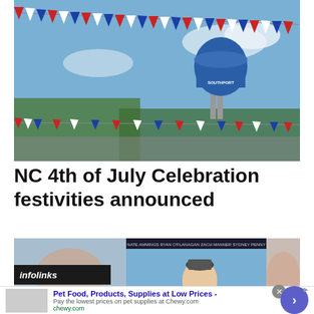[Figure (photo): Outdoor scene with red, white, and blue bunting/pennant flags strung across the image with a blue water tower labeled 'Southport' visible in the background against a partly cloudy sky.]
NC 4th of July Celebration festivities announced
[Figure (photo): Advertisement banner area with infolinks label and a movie/TV show advertisement, partially blurred.]
Pet Food, Products, Supplies at Low Prices - Pay the lowest prices on pet supplies at Chewy.com chewy.com